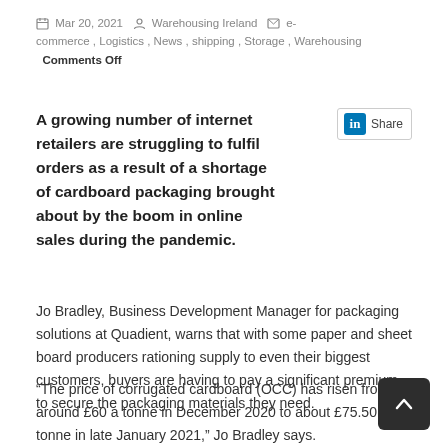Mar 20, 2021  Warehousing Ireland  e-commerce , Logistics , News , shipping , Storage , Warehousing  Comments Off
A growing number of internet retailers are struggling to fulfil orders as a result of a shortage of cardboard packaging brought about by the boom in online sales during the pandemic.
Jo Bradley, Business Development Manager for packaging solutions at Quadient, warns that with some paper and sheet board producers rationing supply to even their biggest customers, buyers are having to pay a significant premium to secure the packaging materials they need.
“The price of corrugated cardboard (OCC) has risen from around £60 a tonne in December 2020 to about £75.50 a tonne in late January 2021,” Jo Bradley says.